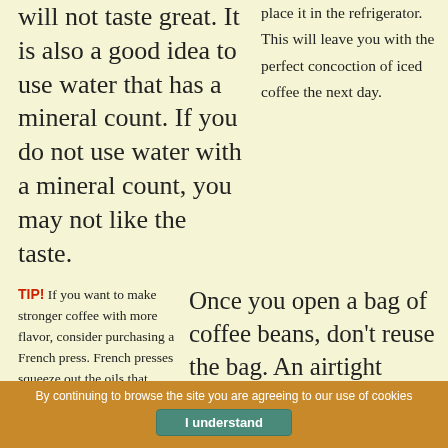will not taste great. It is also a good idea to use water that has a mineral count. If you do not use water with a mineral count, you may not like the taste.
place it in the refrigerator. This will leave you with the perfect concoction of iced coffee the next day.
TIP! If you want to make stronger coffee with more flavor, consider purchasing a French press. French presses squeeze out the oils that flavor coffee.
Once you open a bag of coffee beans, don't reuse the bag. An airtight container that doesn't allow any light in is the best place to store coffee beans once they are opened. This helps the beans stay fresher longer.
Good coffee requires great water. Coffee tastes much better if you use bottled water instead of tap water for your coffee. If you do not want to buy bottled water, consider installing a water
TIP! Carefully monitor the amount of water you put in your coffee machine. Without enough water, the flavor will be overpowering.
By continuing to browse the site you are agreeing to our use of cookies
I understand